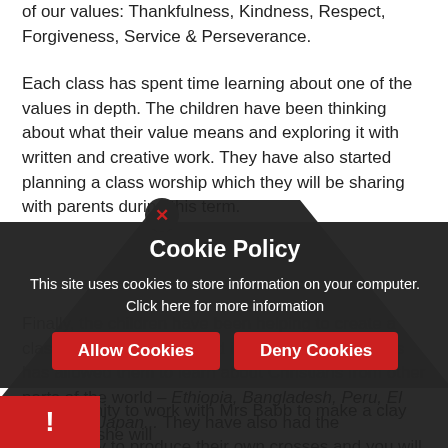of our values: Thankfulness, Kindness, Respect, Forgiveness, Service & Perseverance.
Each class has spent time learning about one of the values in depth. The children have been thinking about what their value means and exploring it with written and creative work. They have also started planning a class worship which they will be sharing with parents during this term.
Finally, the children have been helping to create a class cross to be displayed in their classroom. This has allowed them to learn about Christians from other parts of the world – Ethiopia, Bangladesh, Peru, El Salvador, Japan... They have also had the opportunity to produce their own crosses and you will be able to see in the classroom...
[Figure (screenshot): Cookie Policy popup overlay with dark rounded-top shape, title 'Cookie Policy', body text 'This site uses cookies to store information on your computer. Click here for more information', two red buttons: 'Allow Cookies' and 'Deny Cookies', a red X close button, and a red bottom-left bar with exclamation mark]
...opportunity to work with Mrs Babb to make a clay tile which she will...